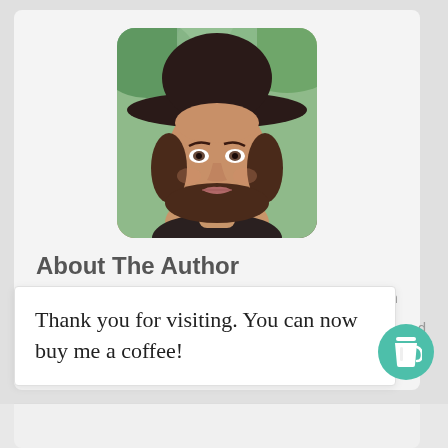[Figure (photo): Author profile photo: a young woman wearing a wide-brimmed black hat with long brown hair, photographed outdoors with green foliage in the background.]
About The Author
Cindy Hawthorne is a noted blogger who has thorough knowledge about Business and Startups. You can follow her blogs on the same to know more about the conceptions. She has also worked as a
Thank you for visiting. You can now buy me a coffee!